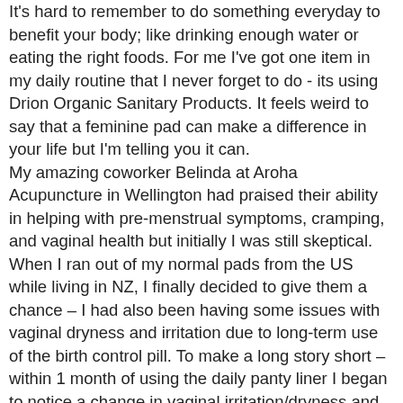It's hard to remember to do something everyday to benefit your body; like drinking enough water or eating the right foods. For me I've got one item in my daily routine that I never forget to do - its using Drion Organic Sanitary Products. It feels weird to say that a feminine pad can make a difference in your life but I'm telling you it can. My amazing coworker Belinda at Aroha Acupuncture in Wellington had praised their ability in helping with pre-menstrual symptoms, cramping, and vaginal health but initially I was still skeptical. When I ran out of my normal pads from the US while living in NZ, I finally decided to give them a chance – I had also been having some issues with vaginal dryness and irritation due to long-term use of the birth control pill. To make a long story short – within 1 month of using the daily panty liner I began to notice a change in vaginal irritation/dryness and within 3 months difference was amazing. In that 3 month period it